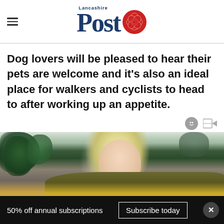Lancashire Post
Dog lovers will be pleased to hear their pets are welcome and it's also an ideal place for walkers and cyclists to head to after working up an appetite.
[Figure (photo): A blonde woman wearing a mustard/olive sweater looking downward, with green plants visible in the background]
50% off annual subscriptions  Subscribe today  ×